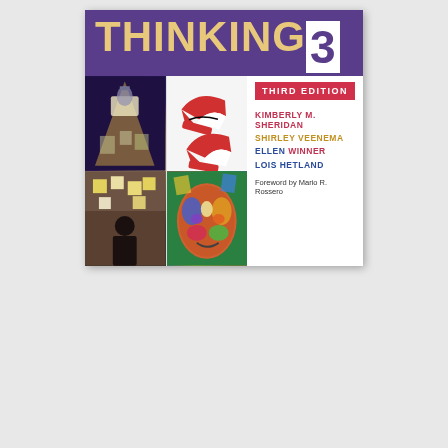[Figure (illustration): Book cover for 'Thinking 3, Third Edition' by Kimberly M. Sheridan, Shirley Veenema, Ellen Winner, Lois Hetland. Foreword by Mario R. Rossero. Cover shows a purple title bar with 'THINKING3', a grid of four images (studio with spotlight, red/white sneakers, person at drawing board from behind, colorful painted face), and author names in colored text on white background.]